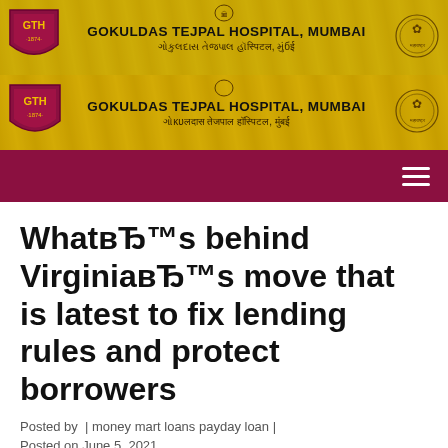[Figure (other): Gokuldas Tejpal Hospital Mumbai website header banner (top) with GTH shield logo, government emblem, hospital name in English and Marathi on golden/yellow background]
[Figure (other): Gokuldas Tejpal Hospital Mumbai website header banner (bottom duplicate) with GTH shield logo, government emblem, hospital name in English and Marathi on golden/yellow background]
[Figure (other): Dark red/maroon navigation bar with hamburger menu icon on right]
WhatвЂ™s behind VirginiaвЂ™s move that is latest to fix lending rules and protect borrowers
Posted by  | money mart loans payday loan | Posted on June 5, 2021
While other jurisdictions...